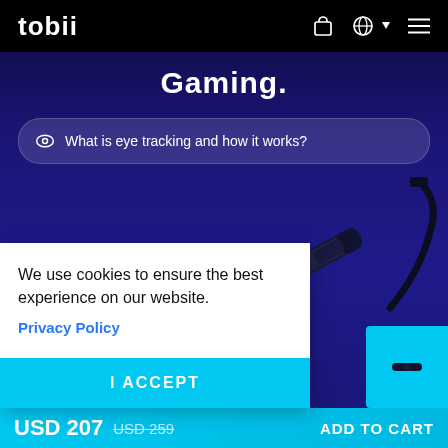tobii
Gaming.
What is eye tracking and how it works?
[Figure (photo): Tobii eye tracker device — a slim black bar with USB cable, shown diagonally on a dark blue/purple background]
We use cookies to ensure the best experience on our website.
Privacy Policy
I ACCEPT
USD 207  USD 259  ADD TO CART